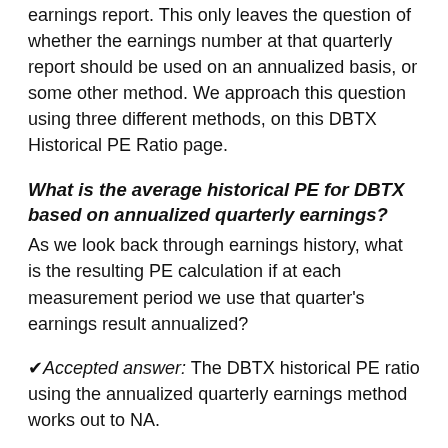earnings report. This only leaves the question of whether the earnings number at that quarterly report should be used on an annualized basis, or some other method. We approach this question using three different methods, on this DBTX Historical PE Ratio page.
What is the average historical PE for DBTX based on annualized quarterly earnings?
As we look back through earnings history, what is the resulting PE calculation if at each measurement period we use that quarter's earnings result annualized?
✔Accepted answer: The DBTX historical PE ratio using the annualized quarterly earnings method works out to NA.
What is the average historical PE for DBTX based on trailing twelve month earnings?
As we look back through earnings history, what is the resulting PE calculation if at each measurement period we use the trailing twelve months combined earnings